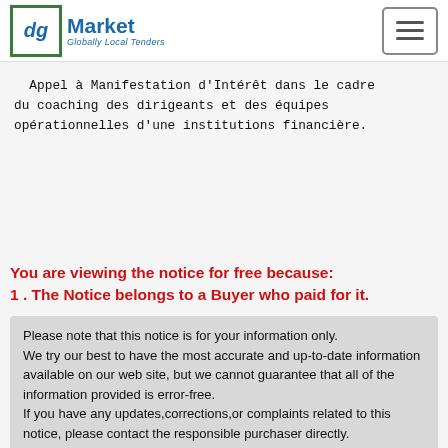dg Market — Globally Local Tenders
Appel à Manifestation d'Intérêt dans le cadre du coaching des dirigeants et des équipes opérationnelles d'une institutions financière.
You are viewing the notice for free because:
1 . The Notice belongs to a Buyer who paid for it.
Please note that this notice is for your information only. We try our best to have the most accurate and up-to-date information available on our web site, but we cannot guarantee that all of the information provided is error-free. If you have any updates,corrections,or complaints related to this notice, please contact the responsible purchaser directly.